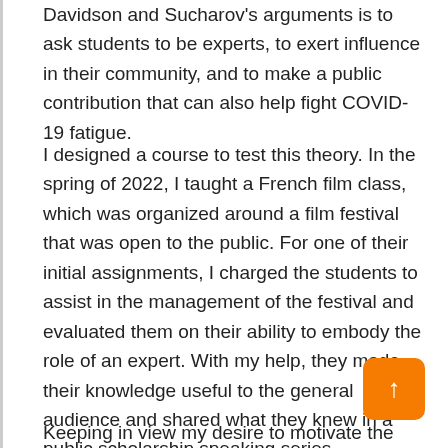Davidson and Sucharov's arguments is to ask students to be experts, to exert influence in their community, and to make a public contribution that can also help fight COVID-19 fatigue.
I designed a course to test this theory. In the spring of 2022, I taught a French film class, which was organized around a film festival that was open to the public. For one of their initial assignments, I charged the students to assist in the management of the festival and evaluated them on their ability to embody the role of an expert. With my help, they made their knowledge useful to the general audience and shared what they knew in a public scholarship speaking series.
Keeping in view my desire to motivate the students,